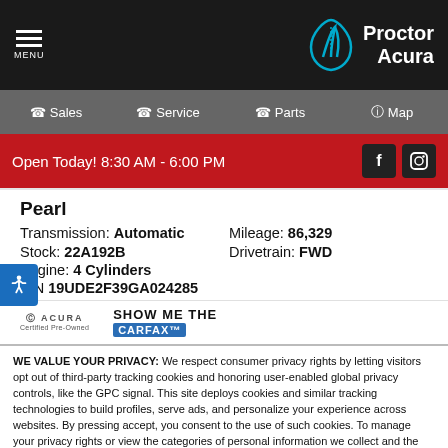MENU | Proctor Acura
Sales | Service | Parts | Map
Open Today! 8:30 AM - 6:00 PM
Pearl
Transmission: Automatic  Mileage: 86,329
Stock: 22A192B  Drivetrain: FWD
Engine: 4 Cylinders
VIN 19UDE2F39GA024285
[Figure (logo): Acura Certified Pre-Owned logo and SHOW ME THE CARFAX badge]
WE VALUE YOUR PRIVACY: We respect consumer privacy rights by letting visitors opt out of third-party tracking cookies and honoring user-enabled global privacy controls, like the GPC signal. This site deploys cookies and similar tracking technologies to build profiles, serve ads, and personalize your experience across websites. By pressing accept, you consent to the use of such cookies. To manage your privacy rights or view the categories of personal information we collect and the purposes for which the information is used, click here.
Language: English ▼  Powered by ComplyAuto
Accept and Continue → | Privacy Policy | ✕